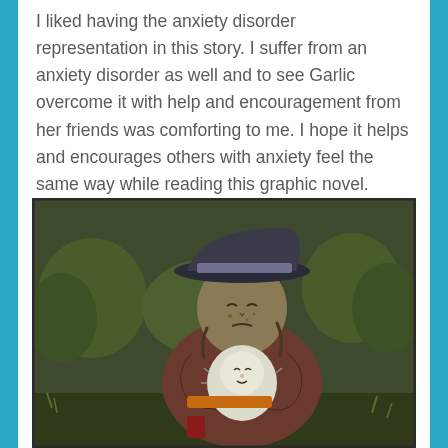I liked having the anxiety disorder representation in this story. I suffer from an anxiety disorder as well and to see Garlic overcome it with help and encouragement from her friends was comforting to me. I hope it helps and encourages others with anxiety feel the same way while reading this graphic novel.
[Figure (illustration): A graphic novel illustration showing a large, weathered character wearing a wide-brimmed dark hat and a dark reddish-brown outfit, holding and embracing a small pale/white creature or character. Both figures appear distressed or emotional. The background shows muted green trees and a dark outdoor setting.]